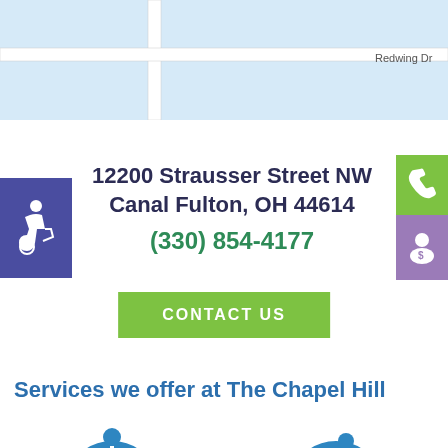[Figure (map): Map showing Redwing Dr street with road intersections on light blue background]
12200 Strausser Street NW
Canal Fulton, OH 44614
(330) 854-4177
CONTACT US
Services we offer at The Chapel Hill
[Figure (illustration): Blue oval icon with person figure arms up]
[Figure (illustration): Blue oval icon with person being helped/care figure]